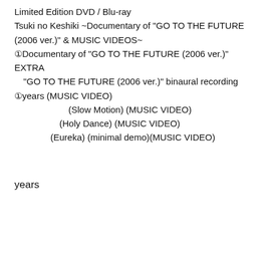Limited Edition DVD / Blu-ray
Tsuki no Keshiki ~Documentary of "GO TO THE FUTURE (2006 ver.)" & MUSIC VIDEOS~
①Documentary of "GO TO THE FUTURE (2006 ver.)" EXTRA
　"GO TO THE FUTURE (2006 ver.)" binaural recording
①years (MUSIC VIDEO)
　　　　　　(Slow Motion) (MUSIC VIDEO)
　　　　　(Holy Dance) (MUSIC VIDEO)
　　　　(Eureka) (minimal demo)(MUSIC VIDEO)
years
[Figure (screenshot): YouTube video embed showing sakanaction channel with video title containing 'years' and '-Music Video-', with a play button visible over a dark video thumbnail. A reCAPTCHA overlay appears in the bottom right corner with 'Privacy · Terms' text.]